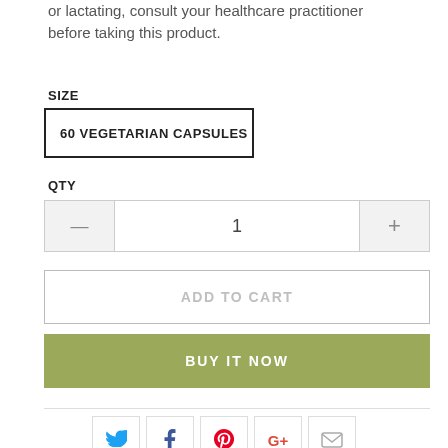or lactating, consult your healthcare practitioner before taking this product.
SIZE
60 VEGETARIAN CAPSULES
QTY
1
ADD TO CART
BUY IT NOW